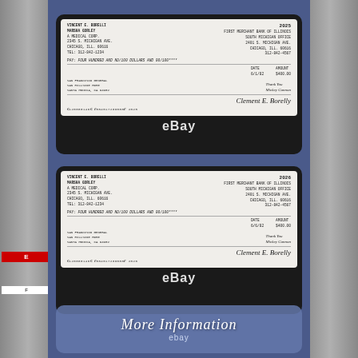[Figure (photo): Top framed check displayed on dark background in eBay listing photo, with cursive signature and handwritten annotations, with eBay watermark below]
[Figure (photo): Bottom framed check displayed on dark background in eBay listing photo, similar to top check with cursive signature and handwritten annotations, with eBay watermark below]
More Information
ebay